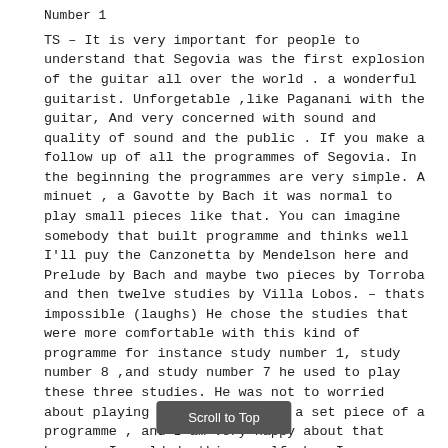Number 1
TS – It is very important for people to understand that Segovia was the first explosion of the guitar all over the world . a wonderful guitarist. Unforgetable ,like Paganani with the guitar, And very concerned with sound and quality of sound and the public . If you make a follow up of all the programmes of Segovia. In the beginning the programmes are very simple. A minuet , a Gavotte by Bach it was normal to play small pieces like that. You can imagine somebody that built programme and thinks well I'll puy the Canzonetta by Mendelson here and Prelude by Bach and maybe two pieces by Torroba and then twelve studies by Villa Lobos. – thats impossible (laughs) He chose the studies that were more comfortable with this kind of programme for instance study number 1, study number 8 ,and study number 7 he used to play these three studies. He was not to worried about playing them together as a set piece of a programme , and I am very happy about that because I could do this myself when I was eighteen years old.
AS – but Segovia did perfom them in public?